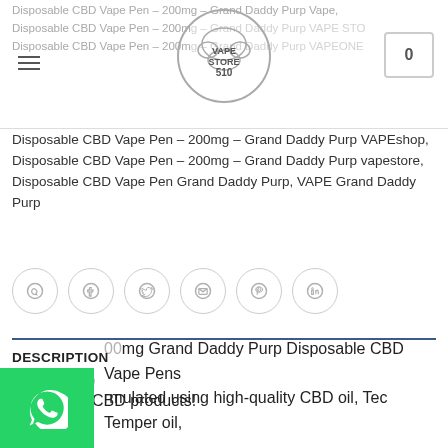Disposable CBD Vape Pen – 200mg – Grand Daddy Purp Vape, Disposable CBD Vape Pen – 200mg – Grand Daddy Purp VAPE STORE, Disposable CBD Vape Pen – 200mg – Grand Daddy Purp VAPEONE, Disposable CBD Vape Pen – 200mg – Grand Daddy Purp VAPEshop, Disposable CBD Vape Pen – 200mg – Grand Daddy Purp vapestore, Disposable CBD Vape Pen Grand Daddy Purp, VAPE Grand Daddy Purp
[Figure (logo): Vape Store 510 circular logo]
Disposable CBD Vape Pen – 200mg – Grand Daddy Purp VAPEshop,
Disposable CBD Vape Pen – 200mg – Grand Daddy Purp vapestore,
Disposable CBD Vape Pen Grand Daddy Purp, VAPE Grand Daddy Purp
[Figure (other): Row of social sharing icons: WhatsApp, Facebook, Twitter, Email, Pinterest, LinkedIn]
DESCRIPTION
REVIEWS (0)
Know your CBD products!
200mg Grand Daddy Purp Disposable CBD Vape Pens are formulated using high-quality CBD oil, Tec Temper oil,